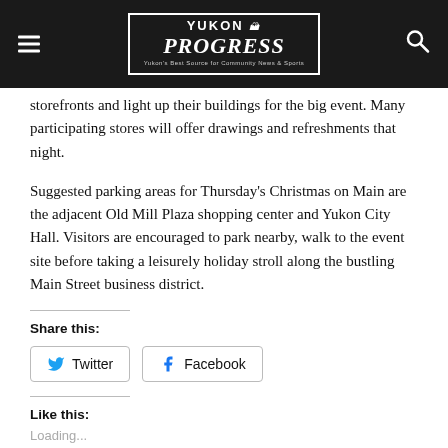Yukon Progress
storefronts and light up their buildings for the big event. Many participating stores will offer drawings and refreshments that night.
Suggested parking areas for Thursday's Christmas on Main are the adjacent Old Mill Plaza shopping center and Yukon City Hall. Visitors are encouraged to park nearby, walk to the event site before taking a leisurely holiday stroll along the bustling Main Street business district.
Share this:
Twitter   Facebook
Like this:
Loading...